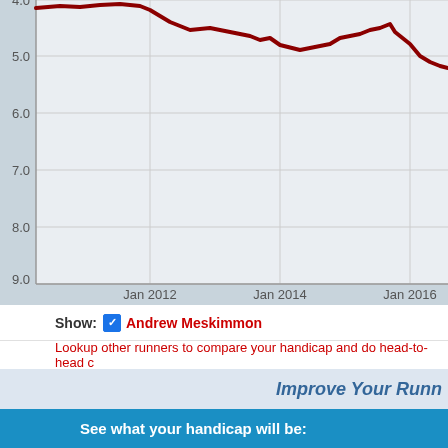[Figure (continuous-plot): Line chart showing running handicap over time (Jan 2012 to Jan 2016+). Y-axis from 4.0 (top) to 9.0 (bottom). A dark red line shows the handicap trend, generally declining from around 4.0 to about 5.0 near Jan 2016.]
Show: ✓ Andrew Meskimmon
Lookup other runners to compare your handicap and do head-to-head c...
Improve Your Runn...
See what your handicap will be:
Distance  5K  or